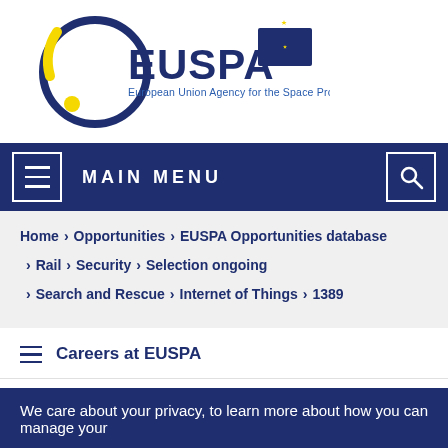[Figure (logo): EUSPA logo — European Union Agency for the Space Programme — dark blue circle with yellow crescent arc and yellow dot, EUSPA text in dark blue, EU flag emblem on blue rectangle]
MAIN MENU
Home > Opportunities > EUSPA Opportunities database > Rail > Security > Selection ongoing > Search and Rescue > Internet of Things > 1389
Careers at EUSPA
We care about your privacy, to learn more about how you can manage your